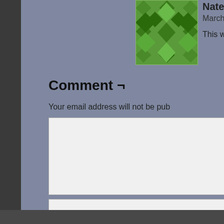[Figure (illustration): Green geometric avatar/identicon for user Nate]
Nate
March 17th, 2
This was m
Comment ¬
Your email address will not be pub
Save my name, email, and we
Post Comment
This site uses Akismet to reduce s